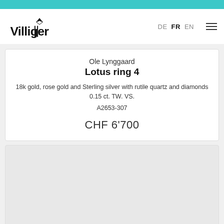Villiger — DE FR EN navigation header
Ole Lynggaard
Lotus ring 4
18k gold, rose gold and Sterling silver with rutile quartz and diamonds 0.15 ct. TW. VS.
A2653-307
CHF 6'700
[Figure (photo): Product image placeholder area (light grey rectangle)]